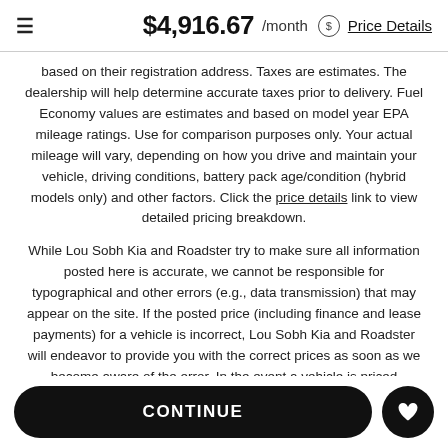$4,916.67 /month Price Details
based on their registration address. Taxes are estimates. The dealership will help determine accurate taxes prior to delivery. Fuel Economy values are estimates and based on model year EPA mileage ratings. Use for comparison purposes only. Your actual mileage will vary, depending on how you drive and maintain your vehicle, driving conditions, battery pack age/condition (hybrid models only) and other factors. Click the price details link to view detailed pricing breakdown.
While Lou Sobh Kia and Roadster try to make sure all information posted here is accurate, we cannot be responsible for typographical and other errors (e.g., data transmission) that may appear on the site. If the posted price (including finance and lease payments) for a vehicle is incorrect, Lou Sobh Kia and Roadster will endeavor to provide you with the correct prices as soon as we become aware of the error. In the event a vehicle is priced incorrectly, Lou Sobh Kia shall have the right to refuse or cancel any orders placed for the vehicle presented with the incorrect price. In